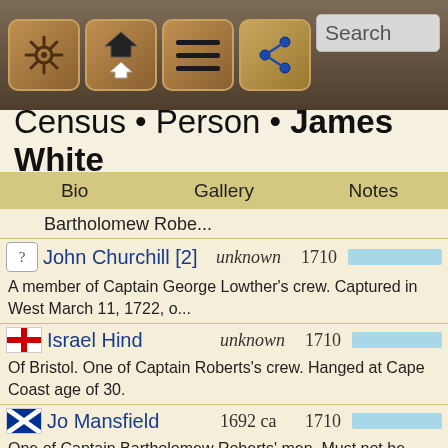[Figure (screenshot): Mobile app toolbar with navigation icons: ship wheel, home/up, hamburger menu, share button, and Search bar]
Census • Person • James White
Bio    Gallery    Notes
Bartholomew Robe...
John Churchill [2]    unknown    1710
A member of Captain George Lowther's crew. Captured in West March 11, 1722, o...
Israel Hind    unknown    1710
Of Bristol. One of Captain Roberts's crew. Hanged at Cape Coast age of 30.
Jo Mansfield    1692 ca    1710
One of Captain Bartholomew Roberts' men. Must not be confused Mansfield, the famous b...
Henry Watson    unknown    1710
Member of Lowther's crew. Hanged at St. Kitts, March 11, 1722.
Richard West    unknown    1710
Member of Lowther's crew. Hanged at St. Kitts, March 11, 1722.
Robert White [2]    unknown    1710